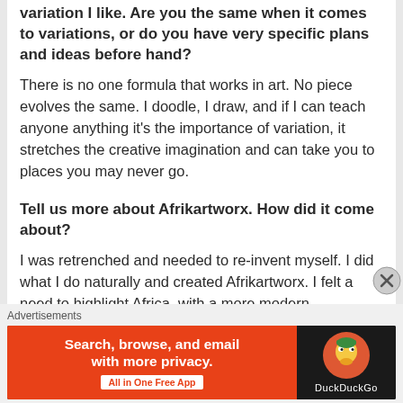variation I like. Are you the same when it comes to variations, or do you have very specific plans and ideas before hand?
There is no one formula that works in art. No piece evolves the same. I doodle, I draw, and if I can teach anyone anything it’s the importance of variation, it stretches the creative imagination and can take you to places you may never go.
Tell us more about Afrikartworx. How did it come about?
I was retrenched and needed to re-invent myself. I did what I do naturally and created Afrikartworx. I felt a need to highlight Africa, with a more modern
Advertisements
[Figure (other): DuckDuckGo advertisement banner: orange left side with text 'Search, browse, and email with more privacy. All in One Free App' and dark right side with DuckDuckGo logo and name.]